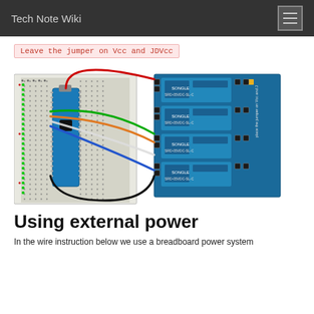Tech Note Wiki
Leave the jumper on Vcc and JDVcc
[Figure (engineering-diagram): Wiring diagram showing an Arduino Nano on a breadboard connected to a 4-relay module with colored wires (red, green, orange, white, blue, black). A label reads 'place the jumper on Vcc and JD'. The relay module is a blue 4-relay SRD-05VDC-SL-C board.]
Using external power
In the wire instruction below we use a breadboard power system